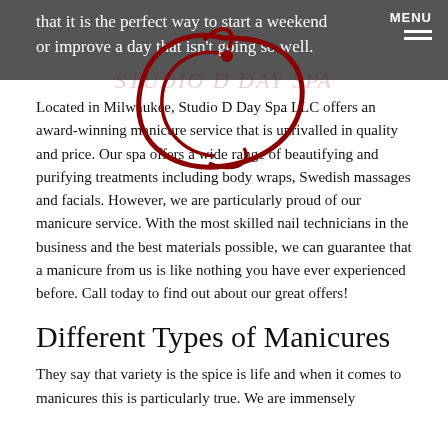that it is the perfect way to start a weekend or improve a day that isn't going so well.
[Figure (logo): Studio D Day Spa LLC cursive red logo mark, a stylized letter D in dark red/crimson script, with a watermark text 'STUDIO D DAY SPA' in the background]
Located in Milwaukee, Studio D Day Spa LLC offers an award-winning manicure service that is unrivalled in quality and price. Our spa offers a wide range of beautifying and purifying treatments including body wraps, Swedish massages and facials. However, we are particularly proud of our manicure service. With the most skilled nail technicians in the business and the best materials possible, we can guarantee that a manicure from us is like nothing you have ever experienced before. Call today to find out about our great offers!
Different Types of Manicures
They say that variety is the spice is life and when it comes to manicures this is particularly true. We are immensely